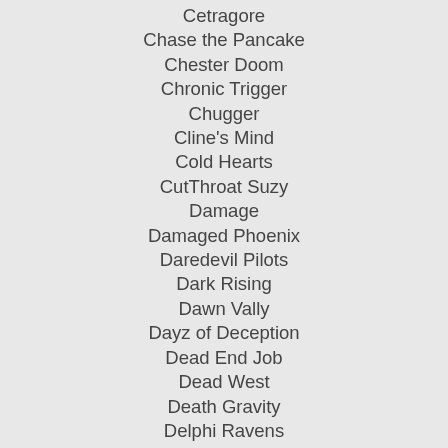Cetragore
Chase the Pancake
Chester Doom
Chronic Trigger
Chugger
Cline's Mind
Cold Hearts
CutThroat Suzy
Damage
Damaged Phoenix
Daredevil Pilots
Dark Rising
Dawn Vally
Dayz of Deception
Dead End Job
Dead West
Death Gravity
Delphi Ravens
Denigrate
Devil Be My Judge
Destroyers of Reality